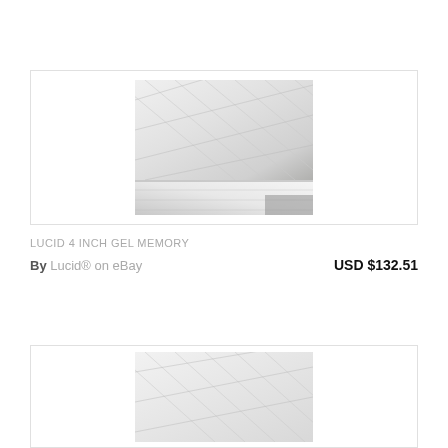[Figure (photo): Close-up photo of a white quilted mattress topper surface with diagonal stitching pattern, shown in a product listing card with a light gray border.]
LUCID 4 INCH GEL MEMORY
By Lucid® on eBay    USD $132.51
[Figure (photo): Close-up photo of a white quilted mattress topper surface with diagonal stitching pattern, shown partially in a second product listing card with a light gray border.]